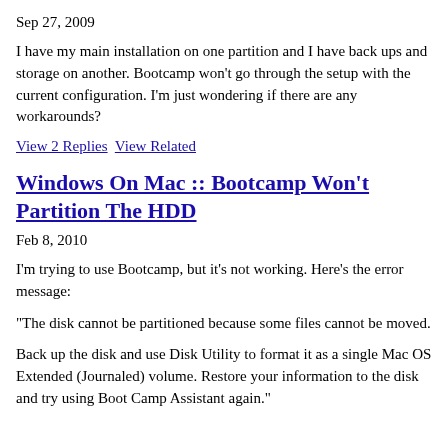Sep 27, 2009
I have my main installation on one partition and I have back ups and storage on another. Bootcamp won't go through the setup with the current configuration. I'm just wondering if there are any workarounds?
View 2 Replies  View Related
Windows On Mac :: Bootcamp Won't Partition The HDD
Feb 8, 2010
I'm trying to use Bootcamp, but it's not working. Here's the error message:
"The disk cannot be partitioned because some files cannot be moved.
Back up the disk and use Disk Utility to format it as a single Mac OS Extended (Journaled) volume. Restore your information to the disk and try using Boot Camp Assistant again."